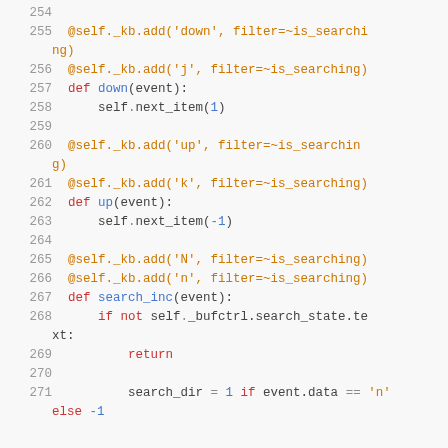[Figure (screenshot): Python source code snippet showing keyboard binding methods for navigation in a text editor widget, lines 254–271, with syntax highlighting. Colors: line numbers in gray, keywords (def, return, if, not, else) in red, decorator/method calls in orange, filter parameters and numbers in blue.]